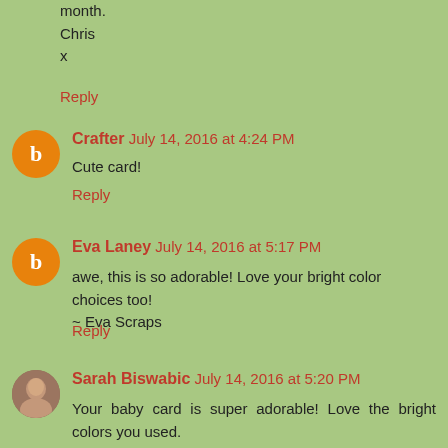month.
Chris
x
Reply
Crafter  July 14, 2016 at 4:24 PM
Cute card!
Reply
Eva Laney  July 14, 2016 at 5:17 PM
awe, this is so adorable! Love your bright color choices too!
~ Eva Scraps
Reply
Sarah Biswabic  July 14, 2016 at 5:20 PM
Your baby card is super adorable! Love the bright colors you used.